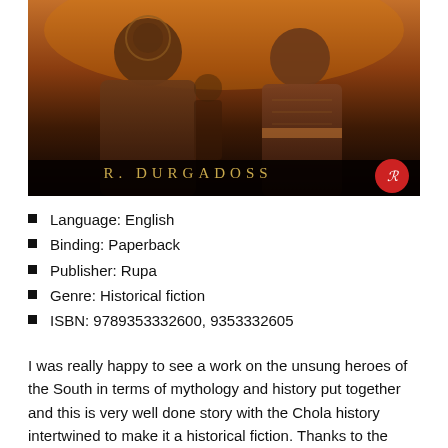[Figure (illustration): Book cover image showing two historical figures in warrior/royal attire against a warm orange-brown background. Author name 'R. DURGADOSS' displayed in gold letters at the bottom center, with a red circular publisher logo (Rupa) at the bottom right.]
Language: English
Binding: Paperback
Publisher: Rupa
Genre: Historical fiction
ISBN: 9789353332600, 9353332605
I was really happy to see a work on the unsung heroes of the South in terms of mythology and history put together and this is very well done story with the Chola history intertwined to make it a historical fiction. Thanks to the author Dr. R Durgadoss